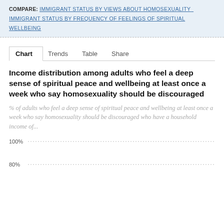COMPARE: IMMIGRANT STATUS BY VIEWS ABOUT HOMOSEXUALITY   IMMIGRANT STATUS BY FREQUENCY OF FEELINGS OF SPIRITUAL WELLBEING
Chart  Trends  Table  Share
Income distribution among adults who feel a deep sense of spiritual peace and wellbeing at least once a week who say homosexuality should be discouraged
% of adults who feel a deep sense of spiritual peace and wellbeing at least once a week who say homosexuality should be discouraged who have a household income of...
[Figure (continuous-plot): Partial bar chart with y-axis gridlines showing 100% and 80% labels, chart body cut off at bottom of page]